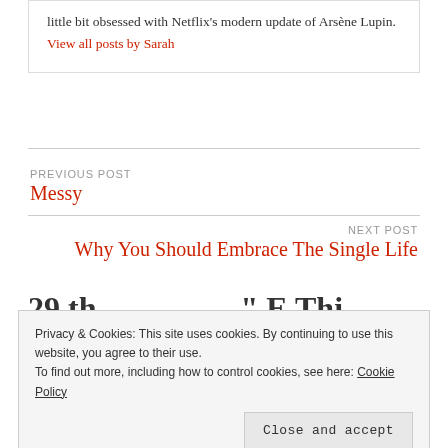little bit obsessed with Netflix's modern update of Arsène Lupin. View all posts by Sarah
PREVIOUS POST
Messy
NEXT POST
Why You Should Embrace The Single Life
Privacy & Cookies: This site uses cookies. By continuing to use this website, you agree to their use. To find out more, including how to control cookies, see here: Cookie Policy
Close and accept